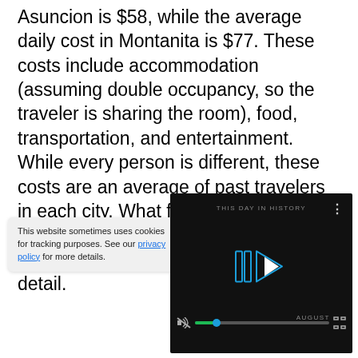Asuncion is $58, while the average daily cost in Montanita is $77. These costs include accommodation (assuming double occupancy, so the traveler is sharing the room), food, transportation, and entertainment. While every person is different, these costs are an average of past travelers in each city. What follows is a categorical breakdown of travel costs for Asuncion and Montanita in more detail.
This website sometimes uses cookies for tracking purposes. See our privacy policy for more details.
[Figure (screenshot): Video thumbnail showing 'THIS DAY IN HISTORY' with a play button icon, progress bar, mute icon, and fullscreen button on a dark background. The word AUGUST is visible.]